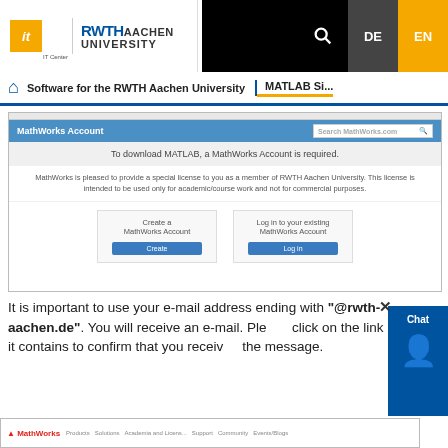[Figure (screenshot): RWTH Aachen University IT Center website header with logo, search icon, DE and EN language buttons]
Software for the RWTH Aachen University | MATLAB Si...
[Figure (screenshot): MathWorks Account login page screenshot showing options to Create a MathWorks Account or Log in to your existing MathWorks Account, with a notice that a MathWorks Account is required to download MATLAB and that MathWorks provides a special license for RWTH Aachen University members for academic/course work only.]
It is important to use your e-mail address ending with "@rwth-aachen.de". You will receive an e-mail. Please click on the link it contains to confirm that you received the message.
[Figure (screenshot): Bottom strip showing MathWorks website navigation bar]